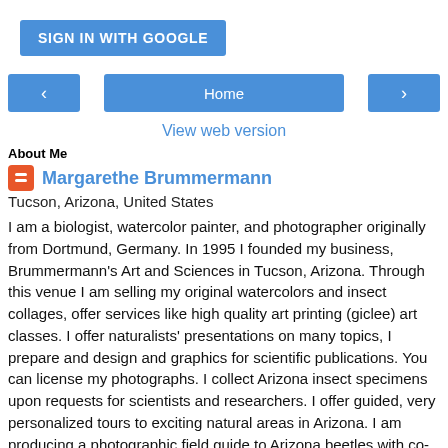[Figure (screenshot): Blue 'SIGN IN WITH GOOGLE' button]
[Figure (screenshot): Navigation row with left arrow button, Home button, and right arrow button (all blue)]
View web version
About Me
Margarethe Brummermann
Tucson, Arizona, United States
I am a biologist, watercolor painter, and photographer originally from Dortmund, Germany. In 1995 I founded my business, Brummermann's Art and Sciences in Tucson, Arizona. Through this venue I am selling my original watercolors and insect collages, offer services like high quality art printing (giclee) art classes. I offer naturalists' presentations on many topics, I prepare and design and graphics for scientific publications. You can license my photographs. I collect Arizona insect specimens upon requests for scientists and researchers. I offer guided, very personalized tours to exciting natural areas in Arizona. I am producing a photographic field guide to Arizona beetles with co-author Arthur Evans. For this purpose I